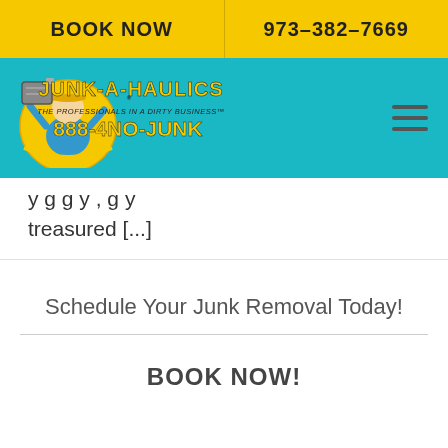BOOK NOW | 973-382-7669
[Figure (logo): Junk-A-Haulics logo with cartoon man holding junk, teal background, phone number 888-4NO-JUNK]
y g g y , g y treasured [...]
Schedule Your Junk Removal Today!
BOOK NOW!